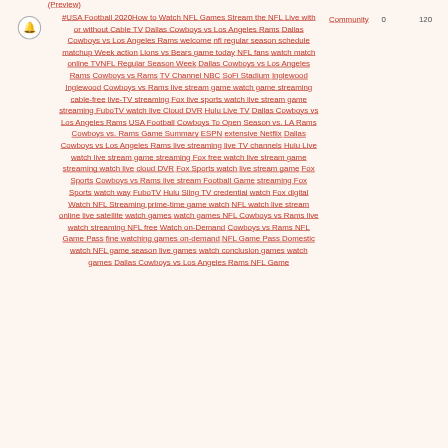(Preview)
[Figure (logo): Bell/notification icon inside a circle]
#USA Football 2020How to Watch NFL Games Stream the NFL Live with or without Cable TV Dallas Cowboys vs Los Angeles Rams Dallas Cowboys vs Los Angeles Rams welcome nfl regular season schedule matchup Week action Lions vs Bears game today NFL fans watch match online TVNFL Regular Season Week Dallas Cowboys vs Los Angeles Rams Cowboys vs Rams TV Channel NBC SoFi Stadium Inglewood Inglewood Cowboys vs Rams live stream game watch game streaming cable-free live-TV streaming Fox live sports watch live stream game streaming FuboTV watch live Cloud DVR Hulu Live TV Dallas Cowboys vs Los Angeles Rams USA Football Cowboys To Open Season vs. LA Rams Cowboys vs. Rams Game Summary ESPN extensive Netflix Dallas Cowboys vs Los Angeles Rams live streaming live TV channels Hulu Live watch live stream game streaming Fox free watch live stream game streaming watch live cloud DVR Fox Sports watch live stream game Fox Sports Cowboys vs Rams live stream Football Game streaming Fox Sports watch way FuboTV Hulu Sling TV credential watch Fox digital Watch NFL Streaming prime-time game watch NFL watch live stream online live satellite watch games watch games NFL Cowboys vs Rams live watch streaming NFL free Watch on-Demand Cowboys vs Rams NFL Game Pass fine watching games on-demand NFL Game Pass Domestic watch NFL game season live games watch conclusion games watch games Dallas Cowboys vs Los Angeles Rams NFL Game
Community
0
120